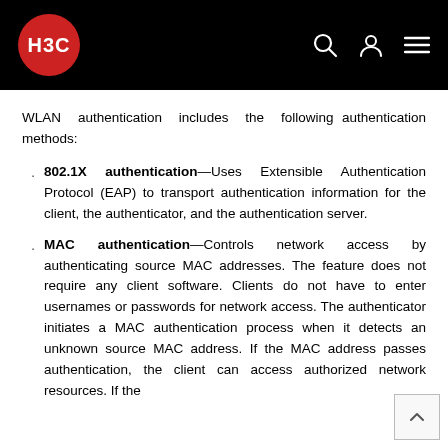H3C
WLAN authentication includes the following authentication methods:
802.1X authentication—Uses Extensible Authentication Protocol (EAP) to transport authentication information for the client, the authenticator, and the authentication server.
MAC authentication—Controls network access by authenticating source MAC addresses. The feature does not require any client software. Clients do not have to enter usernames or passwords for network access. The authenticator initiates a MAC authentication process when it detects an unknown source MAC address. If the MAC address passes authentication, the client can access authorized network resources. If the